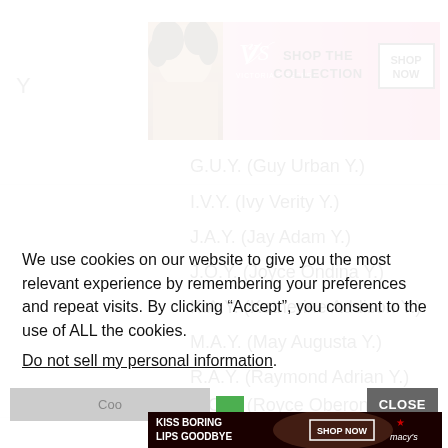T.E.X. (Tex Emmanuel X.)
[Figure (screenshot): Victoria's Secret advertisement banner with model, VS logo, 'SHOP THE COLLECTION' text, and 'SHOP NOW' button]
Y
G.U.Y. (Guy Urban Y.)
I.V.Y. (Ivy Verity Y.)
J.A.Y. (Jay Adam Y.)
J.O.Y. (Joyce Ondina Y.)
K.A.Y. (Katherine Addison Y.)
M.A.Y. (May Augusta Y.)
R.A.Y. (Raymond Adrian Y.)
R.O.Y. (Royce Oberon Y.)
We use cookies on our website to give you the most relevant experience by remembering your preferences and repeat visits. By clicking “Accept”, you consent to the use of ALL the cookies.
Do not sell my personal information.
[Figure (screenshot): Macy's advertisement banner: 'KISS BORING LIPS GOODBYE', 'SHOP NOW' button, and Macy's star logo]